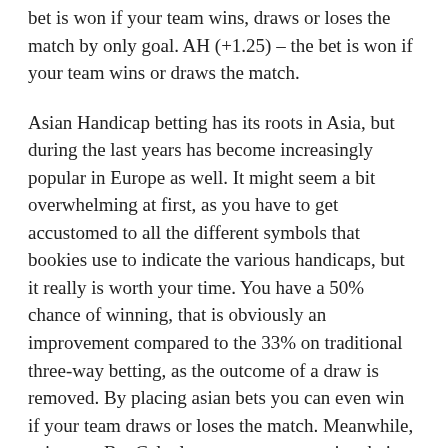bet is won if your team wins, draws or loses the match by only goal. AH (+1.25) – the bet is won if your team wins or draws the match.
Asian Handicap betting has its roots in Asia, but during the last years has become increasingly popular in Europe as well. It might seem a bit overwhelming at first, as you have to get accustomed to all the different symbols that bookies use to indicate the various handicaps, but it really is worth your time. You have a 50% chance of winning, that is obviously an improvement compared to the 33% on traditional three-way betting, as the outcome of a draw is removed. By placing asian bets you can even win if your team draws or loses the match. Meanwhile, using our Bet Calculators you can save time being more accurate in your decisions. Quarterlines are completely different from full